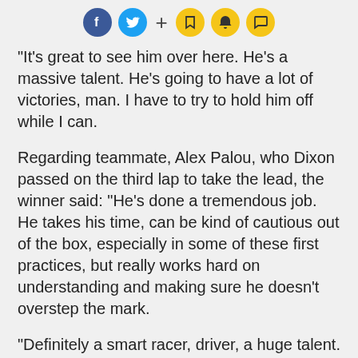[Social share icons: Facebook, Twitter, +, Bookmark, Bell, Chat]
“It’s great to see him over here. He’s a massive talent. He’s going to have a lot of victories, man. I have to try to hold him off while I can.
Regarding teammate, Alex Palou, who Dixon passed on the third lap to take the lead, the winner said: “He’s done a tremendous job. He takes his time, can be kind of cautious out of the box, especially in some of these first practices, but really works hard on understanding and making sure he doesn’t overstep the mark.
“Definitely a smart racer, driver, a huge talent. Definitely pushing all of us on the team, which is what you want. I think it’s really helping in the development side of the team and making sure that we’ve had some fantastic results, which we